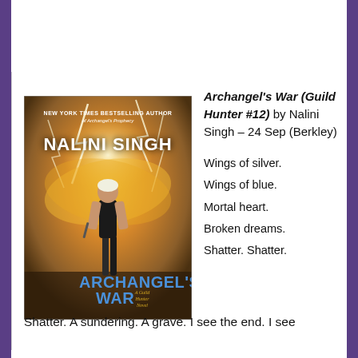[Figure (illustration): Book cover of 'Archangel's War' by Nalini Singh. Features a woman with short white hair holding a weapon, wings visible behind her, surrounded by lightning and golden light. Text on cover: 'NEW YORK TIMES BESTSELLING AUTHOR of Archangel's Prophecy', 'NALINI SINGH', 'ARCHANGEL'S WAR', 'A Guild Hunter Novel'.]
Archangel's War (Guild Hunter #12) by Nalini Singh – 24 Sep (Berkley)
Wings of silver.
Wings of blue.
Mortal heart.
Broken dreams.
Shatter. Shatter.
Shatter. A sundering. A grave. I see the end. I see